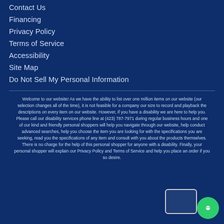Contact Us
Financing
Privacy Policy
Terms of Service
Accessibility
Site Map
Do Not Sell My Personal Information
Welcome to our website! As we have the ability to list over one million items on our website (our selection changes all of the time), it is not feasible for a company our size to record and playback the descriptions on every item on our website. However, if you have a disability we are here to help you. Please call our disability services phone line at (423) 787-7971 during regular business hours and one of our kind and friendly personal shoppers will help you navigate through our website, help conduct advanced searches, help you choose the item you are looking for with the specifications you are seeking, read you the specifications of any item and consult with you about the products themselves. There is no charge for the help of this personal shopper for anyone with a disability. Finally, your personal shopper will explain our Privacy Policy and Terms of Service and help you place an order if you so desire.